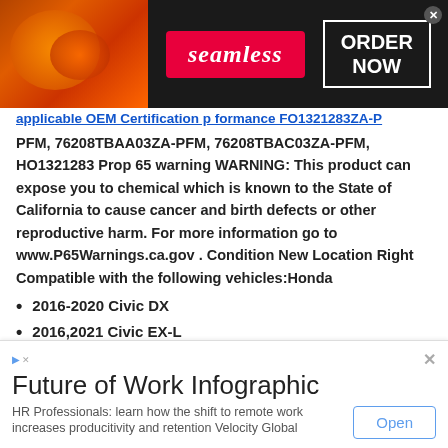[Figure (other): Seamless food delivery advertisement banner with pizza image, red Seamless logo badge, and ORDER NOW button]
PFM, 76208TBAA03ZA-PFM, 76208TBAC03ZA-PFM, HO1321283 Prop 65 warning WARNING: This product can expose you to chemical which is known to the State of California to cause cancer and birth defects or other reproductive harm. For more information go to www.P65Warnings.ca.gov . Condition New Location Right Compatible with the following vehicles:Honda
2016-2020 Civic DX
2016,2021 Civic EX-L
2017-2020 Civic EX-L Coupe
2017-2020 Civic EX-L Sedan
017-2020 Civic LX Coupe
[Figure (other): Future of Work Infographic advertisement by Velocity Global with Open button]